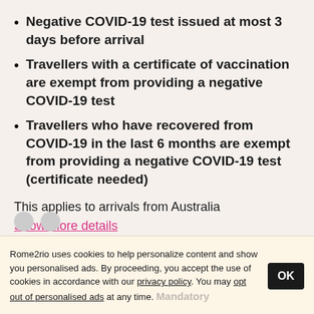Negative COVID-19 test issued at most 3 days before arrival
Travellers with a certificate of vaccination are exempt from providing a negative COVID-19 test
Travellers who have recovered from COVID-19 in the last 6 months are exempt from providing a negative COVID-19 test (certificate needed)
This applies to arrivals from Australia
Show more details
Rules to follow in Spain
Rome2rio uses cookies to help personalize content and show you personalised ads. By proceeding, you accept the use of cookies in accordance with our privacy policy. You may opt out of personalised ads at any time. Mandatory